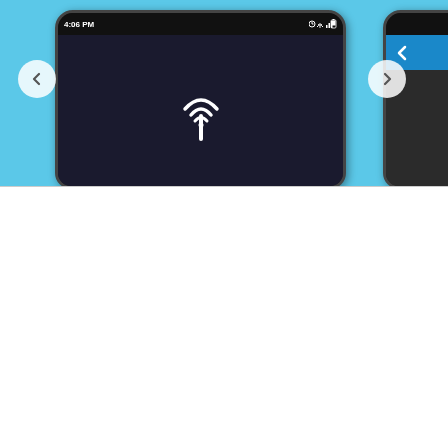[Figure (screenshot): A smartphone app screenshot carousel showing a mobile phone with a wireless/NFC signal icon on its dark screen, set against a light blue background. Navigation arrows (left chevron and right chevron) appear on either side. A second phone is partially visible on the right edge showing a blue back arrow and partial dark interface. The phone status bar shows '4:06 PM' and signal/battery icons.]